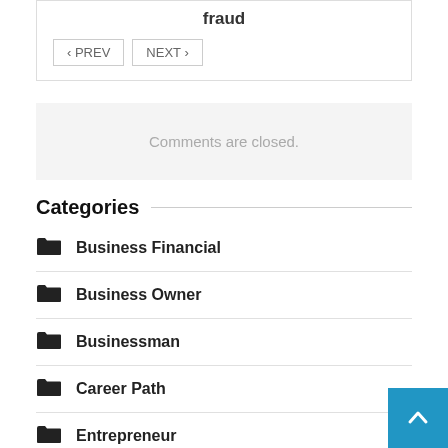fraud
‹ PREV   NEXT ›
Comments are closed.
Categories
Business Financial
Business Owner
Businessman
Career Path
Entrepreneur